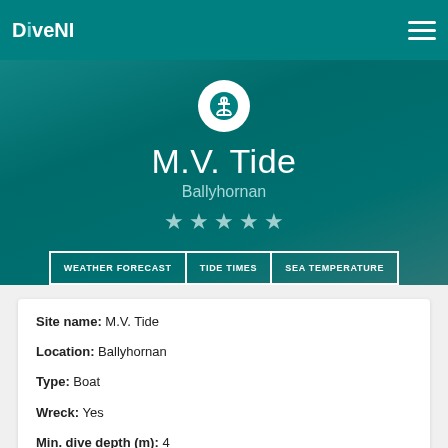DiveNI
M.V. Tide
Ballyhornan
WEATHER FORECAST   TIDE TIMES   SEA TEMPERATURE
Site name: M.V. Tide
Location: Ballyhornan
Type: Boat
Wreck: Yes
Min. dive depth (m): 4
Max. dive depth (m): 14